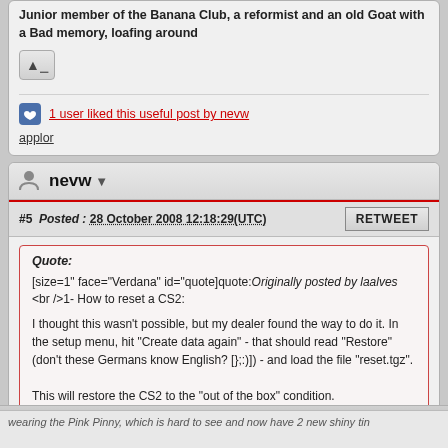Junior member of the Banana Club, a reformist and an old Goat with a Bad memory, loafing around
1 user liked this useful post by nevw
applor
nevw
#5  Posted : 28 October 2008 12:18:29(UTC)
RETWEET
Quote:
[size=1" face="Verdana" id="quote]quote:Originally posted by laalves
<br />1- How to reset a CS2:

I thought this wasn't possible, but my dealer found the way to do it. In the setup menu, hit "Create data again" - that should read "Restore" (don't these Germans know English? [};:)]) - and load the file "reset.tgz".

This will restore the CS2 to the "out of the box" condition.
Sorry But it restores it to the latest upgrade version
NN
wearing the Pink Pinny, which is hard to see and now have 2 new shiny tin